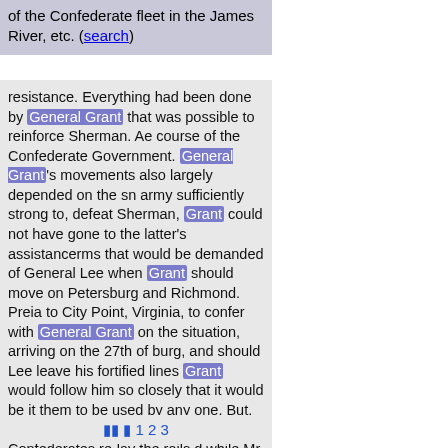of the Confederate fleet in the James River, etc. (search)
resistance. Everything had been done by General Grant that was possible to reinforce Sherman. Ae course of the Confederate Government. General Grant's movements also largely depended on the sn army sufficiently strong to, defeat Sherman, Grant could not have gone to the latter's assistancerms that would be demanded of General Lee when Grant should move on Petersburg and Richmond. Preia to City Point, Virginia, to confer with General Grant on the situation, arriving on the 27th of burg, and should Lee leave his fortified lines Grant would follow him so closely that it would be it them to be used by any one. But, said General Grant, cannot the Confederates re-lay the rails,d while Mr. Lincoln had implicit confidence in Grant's military abilities, he relied no less on hisforces on the river were in this position, General Grant was gradually enveloping Richmond with his defend Lee's extreme right at Five Forks, General Grant. on the morning of the 2d of April, order[9 more...]
⏮ ◀ 1 2 3